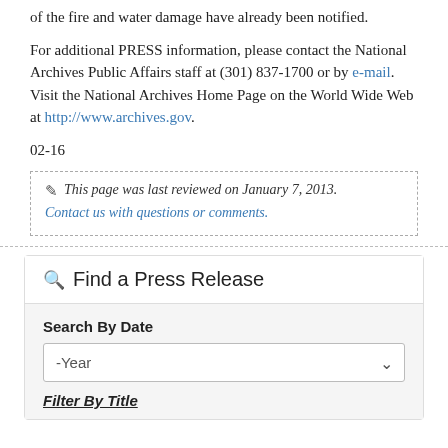of the fire and water damage have already been notified.
For additional PRESS information, please contact the National Archives Public Affairs staff at (301) 837-1700 or by e-mail. Visit the National Archives Home Page on the World Wide Web at http://www.archives.gov.
02-16
This page was last reviewed on January 7, 2013. Contact us with questions or comments.
Find a Press Release
Search By Date
-Year
Filter By Title